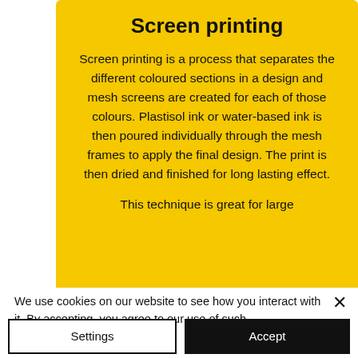Screen printing
Screen printing is a process that separates the different coloured sections in a design and mesh screens are created for each of those colours. Plastisol ink or water-based ink is then poured individually through the mesh frames to apply the final design. The print is then dried and finished for long lasting effect.
This technique is great for large
We use cookies on our website to see how you interact with it. By accepting, you agree to our use of such cookies. Privacy Policy
Settings
Accept